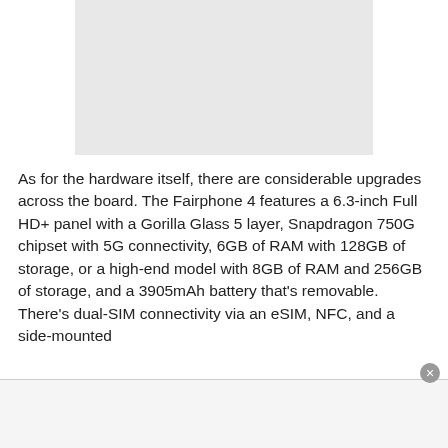[Figure (photo): Light grey placeholder rectangle representing a product or article image]
As for the hardware itself, there are considerable upgrades across the board. The Fairphone 4 features a 6.3-inch Full HD+ panel with a Gorilla Glass 5 layer, Snapdragon 750G chipset with 5G connectivity, 6GB of RAM with 128GB of storage, or a high-end model with 8GB of RAM and 256GB of storage, and a 3905mAh battery that's removable. There's dual-SIM connectivity via an eSIM, NFC, and a side-mounted